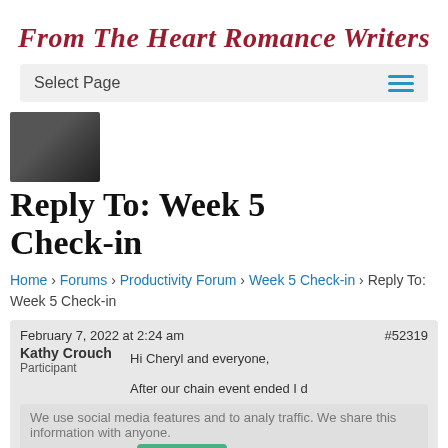From The Heart Romance Writers
Select Page
[Figure (photo): Avatar photo of a person with dark hair in a blue outfit]
Reply To: Week 5 Check-in
Home › Forums › Productivity Forum › Week 5 Check-in › Reply To: Week 5 Check-in
February 7, 2022 at 2:24 am
Kathy Crouch
Participant
#52319
Hi Cheryl and everyone,
After our chain event ended I d
We use ... social media features and to analyse traffic. We share this information with anyone.
Cookies settings  ✓ Accept
Cookies settings